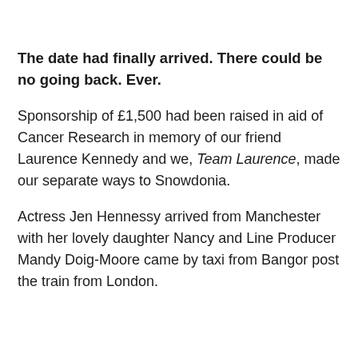The date had finally arrived. There could be no going back. Ever.
Sponsorship of £1,500 had been raised in aid of Cancer Research in memory of our friend Laurence Kennedy and we, Team Laurence, made our separate ways to Snowdonia.
Actress Jen Hennessy arrived from Manchester with her lovely daughter Nancy and Line Producer Mandy Doig-Moore came by taxi from Bangor post the train from London.